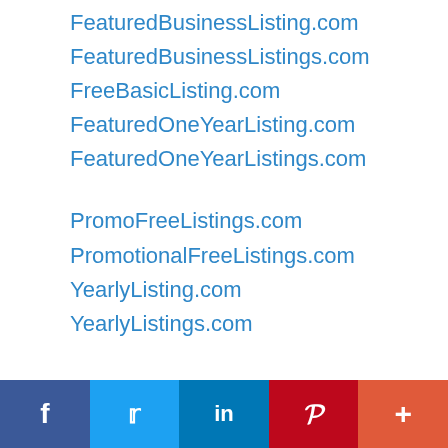FeaturedBusinessListing.com
FeaturedBusinessListings.com
FreeBasicListing.com
FeaturedOneYearListing.com
FeaturedOneYearListings.com
PromoFreeListings.com
PromotionalFreeListings.com
YearlyListing.com
YearlyListings.com
f  twitter  in  P  +